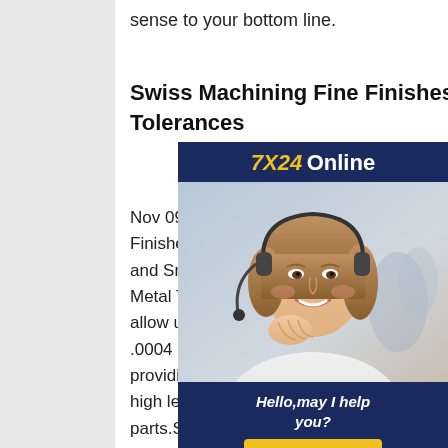sense to your bottom line.
Swiss Machining Fine Finishes and Tight Tolerances
Nov 09, 2020Swiss Machining Fine Finishes and Tight Tolerances for and Small Production Runs Wisconsin Metal Techs Swiss machining capabilities allow us to consistently hold tolerances of .0004 and surface finishes of 8RA, providing simultaneous machining at a high level of precision on multi-faceted parts.STAINLESS STEELS FOR MACHINING - Nickel Instituteoverlook manufacturing, especially machining, which can be improved by material selection. With respect to machining, this booklet helps to explain the differ-ences
[Figure (photo): Advertisement box with dark blue background showing '7X24 Online' header, a photo of a smiling woman with headset, text 'Hello, may I help you?' and a yellow 'Get Latest Price' button]